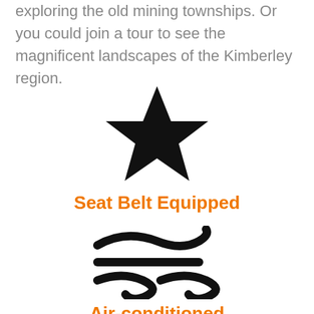exploring the old mining townships. Or you could join a tour to see the magnificent landscapes of the Kimberley region.
[Figure (illustration): Black filled star icon]
Seat Belt Equipped
[Figure (illustration): Wind / air conditioning icon made of curved swoosh lines]
Air-conditioned